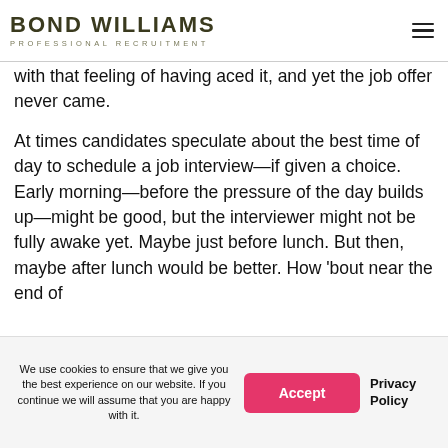BOND WILLIAMS PROFESSIONAL RECRUITMENT
with that feeling of having aced it, and yet the job offer never came.
At times candidates speculate about the best time of day to schedule a job interview—if given a choice. Early morning—before the pressure of the day builds up—might be good, but the interviewer might not be fully awake yet. Maybe just before lunch. But then, maybe after lunch would be better. How 'bout near the end of
We use cookies to ensure that we give you the best experience on our website. If you continue we will assume that you are happy with it.
Accept
Privacy Policy